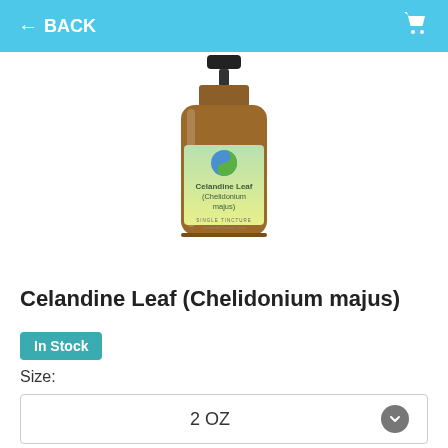← BACK
[Figure (photo): Amber glass dropper bottle with a label reading 'Celandine Leaf (Chelidonium majus)' with a yin-yang style logo and 'SINGLE TINCTURE' text. The label has a green-to-yellow gradient background.]
Celandine Leaf (Chelidonium majus)
In Stock
Size:
2 OZ